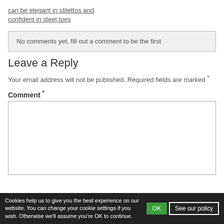can be elegant in stilettos and confident in steel toes
No comments yet, fill out a comment to be the first
Leave a Reply
Your email address will not be published. Required fields are marked *
Comment *
[Figure (other): Empty comment text area input box]
Cookies help us to give you the best experience on our website. You can change your cookie settings if you wish. Otherwise we'll assume you're OK to continue.